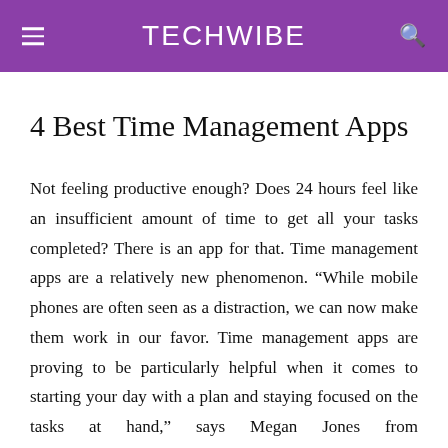TECHWIBE
4 Best Time Management Apps
Not feeling productive enough? Does 24 hours feel like an insufficient amount of time to get all your tasks completed? There is an app for that. Time management apps are a relatively new phenomenon. “While mobile phones are often seen as a distraction, we can now make them work in our favor. Time management apps are proving to be particularly helpful when it comes to starting your day with a plan and staying focused on the tasks at hand,” says Megan Jones from thegoodestate.com. Whether you are a student or a business professional, time